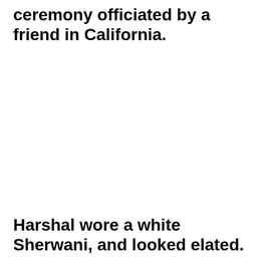ceremony officiated by a friend in California.
Harshal wore a white Sherwani, and looked elated.